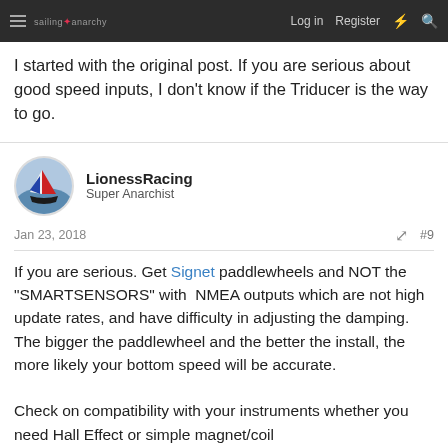sailing anarchy | Log in | Register
I started with the original post.  If you are serious about good speed inputs, I don't know if the Triducer is the way to go.
LionessRacing
Super Anarchist
Jan 23, 2018   #9
If you are serious. Get Signet paddlewheels and NOT the "SMARTSENSORS" with  NMEA outputs which are not high update rates, and have difficulty in adjusting the damping. The bigger the paddlewheel and the better the install, the more likely your bottom speed will be accurate.

Check on compatibility with your instruments whether you need Hall Effect or simple magnet/coil